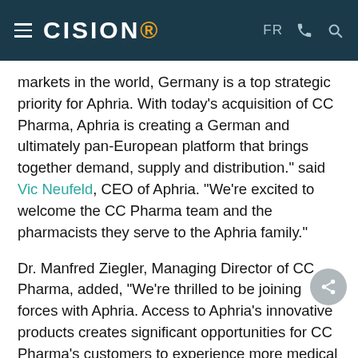CISION — FR
markets in the world, Germany is a top strategic priority for Aphria.  With today's acquisition of CC Pharma, Aphria is creating a German and ultimately pan-European platform that brings together demand, supply and distribution." said Vic Neufeld, CEO of Aphria. "We're excited to welcome the CC Pharma team and the pharmacists they serve to the Aphria family."
Dr. Manfred Ziegler, Managing Director of CC Pharma, added, "We're thrilled to be joining forces with Aphria.  Access to Aphria's innovative products creates significant opportunities for CC Pharma's customers to experience more medical cannabis